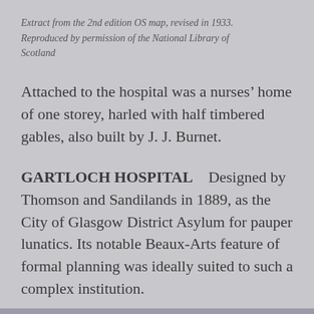Extract from the 2nd edition OS map, revised in 1933. Reproduced by permission of the National Library of Scotland
Attached to the hospital was a nurses’ home of one storey, harled with half timbered gables, also built by J. J. Burnet.
GARTLOCH HOSPITAL   Designed by Thomson and Sandilands in 1889, as the City of Glasgow District Asylum for pauper lunatics. Its notable Beaux-Arts feature of formal planning was ideally suited to such a complex institution.